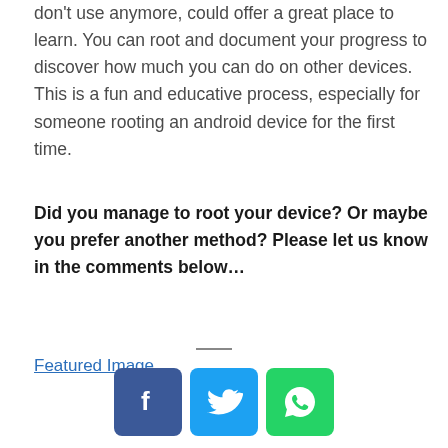don't use anymore, could offer a great place to learn. You can root and document your progress to discover how much you can do on other devices. This is a fun and educative process, especially for someone rooting an android device for the first time.
Did you manage to root your device? Or maybe you prefer another method? Please let us know in the comments below…
Featured Image
[Figure (other): Social share buttons for Facebook, Twitter, and WhatsApp]